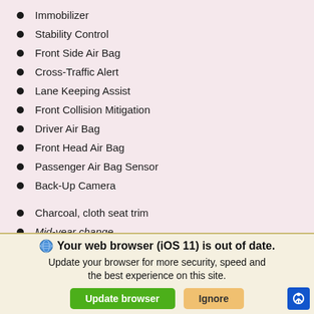Immobilizer
Stability Control
Front Side Air Bag
Cross-Traffic Alert
Lane Keeping Assist
Front Collision Mitigation
Driver Air Bag
Front Head Air Bag
Passenger Air Bag Sensor
Back-Up Camera
Charcoal, cloth seat trim
Mid-year change
CHARCOAL CLOTH SEAT TRIM
Your web browser (iOS 11) is out of date. Update your browser for more security, speed and the best experience on this site.